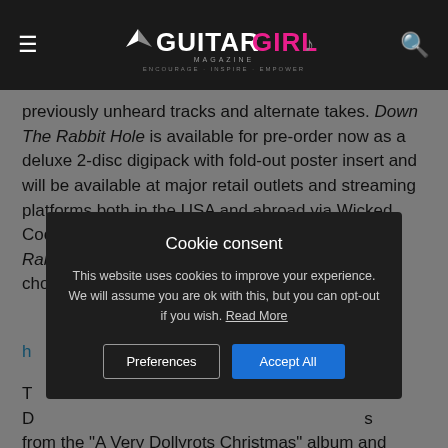Guitar Girl Magazine — ENCOURAGE · INSPIRE · EMPOWER
previously unheard tracks and alternate takes. Down The Rabbit Hole is available for pre-order now as a deluxe 2-disc digipack with fold-out poster insert and will be available at major retail outlets and streaming platforms both in the USA and abroad via Wicked Cool Records on January 21, 2022. Get Down the Rabbit Hole deluxe 2-disc digipack, merch and choose your p[referred format at] h[ttp...]
[Figure (screenshot): Cookie consent modal overlay with dark background. Title: 'Cookie consent'. Body text: 'This website uses cookies to improve your experience. We will assume you are ok with this, but you can opt-out if you wish. Read More'. Two buttons: 'Preferences' and 'Accept All'.]
T[...] D[...] from the "A Very Dollyrots Christmas" album and maybe a few